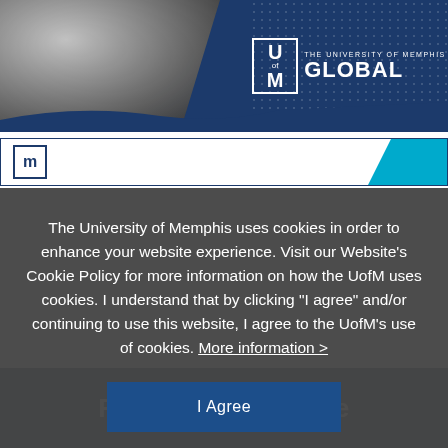[Figure (photo): University of Memphis Global banner with a woman smiling and the UofM Global logo on a dark blue background with globe dot pattern]
[Figure (screenshot): Second banner strip with UofM logo mark and blue accent bar on the right]
The University of Memphis uses cookies in order to enhance your website experience. Visit our Website’s Cookie Policy for more information on how the UofM uses cookies. I understand that by clicking “I agree” and/or continuing to use this website, I agree to the UofM’s use of cookies. More information >
I Agree
Follow UofM Online